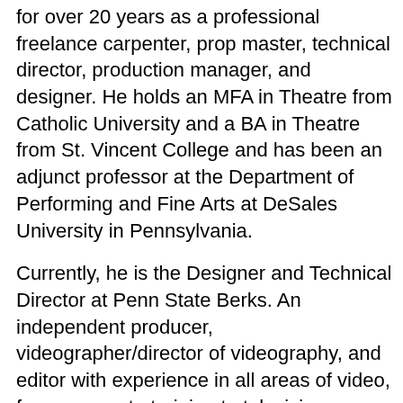for over 20 years as a professional freelance carpenter, prop master, technical director, production manager, and designer. He holds an MFA in Theatre from Catholic University and a BA in Theatre from St. Vincent College and has been an adjunct professor at the Department of Performing and Fine Arts at DeSales University in Pennsylvania.
Currently, he is the Designer and Technical Director at Penn State Berks. An independent producer, videographer/director of videography, and editor with experience in all areas of video, from corporate training to television commercials. His articles appear regularly in Videography, Television Broadcast, TV Technology, Mix, and Government Video. He is a member of the Television/Film faculty at DeSales University in Pennsylvania.